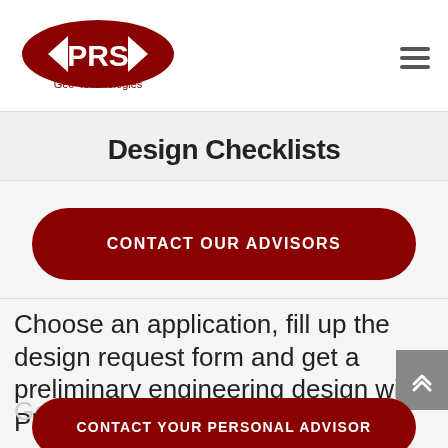[Figure (logo): PRS Geo-Technologies logo with red oval badge and dark red text]
Design Checklists
CONTACT OUR ADVISORS
Choose an application, fill up the design request form and get a preliminary engineering design with PRS Neoloy Geo...
CONTACT YOUR PERSONAL ADVISOR